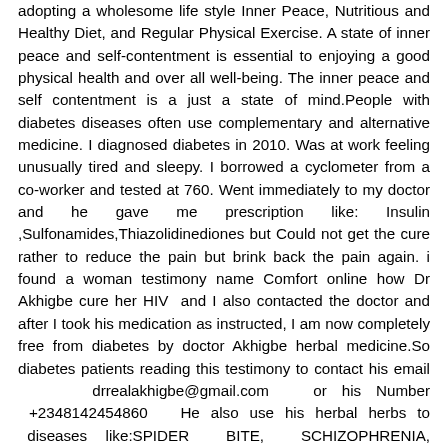adopting a wholesome life style Inner Peace, Nutritious and Healthy Diet, and Regular Physical Exercise. A state of inner peace and self-contentment is essential to enjoying a good physical health and over all well-being. The inner peace and self contentment is a just a state of mind.People with diabetes diseases often use complementary and alternative medicine. I diagnosed diabetes in 2010. Was at work feeling unusually tired and sleepy. I borrowed a cyclometer from a co-worker and tested at 760. Went immediately to my doctor and he gave me prescription like: Insulin ,Sulfonamides,Thiazolidinediones but Could not get the cure rather to reduce the pain but brink back the pain again. i found a woman testimony name Comfort online how Dr Akhigbe cure her HIV  and I also contacted the doctor and after I took his medication as instructed, I am now completely free from diabetes by doctor Akhigbe herbal medicine.So diabetes patients reading this testimony to contact his email      drrealakhigbe@gmail.com   or his Number  +2348142454860   He also use his herbal herbs to  diseases  like:SPIDER   BITE,   SCHIZOPHRENIA, LUPUS,EXTERNAL INFECTION, COMMON COLD, JOINT PAIN,  EPILEPSY,STROKE,TUBERCULOSIS  ,STOMACH